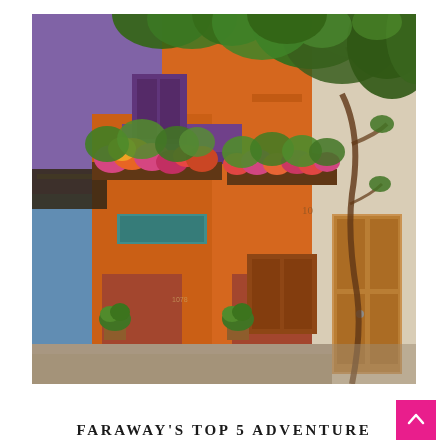[Figure (photo): Colorful colonial street scene with vibrant orange, blue, and purple building facades decorated with flowering plants and bougainvillea in hanging baskets. Lush green tropical foliage overhead. Warm natural lighting. Likely Cartagena, Colombia.]
FARAWAY'S TOP 5 ADVENTURE